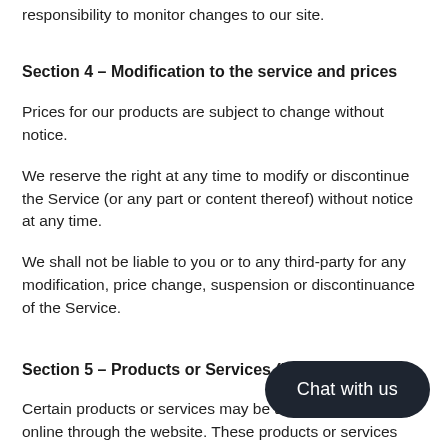responsibility to monitor changes to our site.
Section 4 – Modification to the service and prices
Prices for our products are subject to change without notice.
We reserve the right at any time to modify or discontinue the Service (or any part or content thereof) without notice at any time.
We shall not be liable to you or to any third-party for any modification, price change, suspension or discontinuance of the Service.
Section 5 – Products or Services (if a
Certain products or services may be available exclusively online through the website. These products or services may